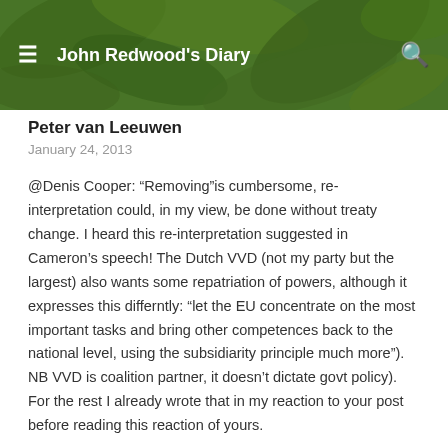John Redwood's Diary
Peter van Leeuwen
January 24, 2013
@Denis Cooper: “Removing”is cumbersome, re-interpretation could, in my view, be done without treaty change. I heard this re-interpretation suggested in Cameron’s speech! The Dutch VVD (not my party but the largest) also wants some repatriation of powers, although it expresses this differntly: “let the EU concentrate on the most important tasks and bring other competences back to the national level, using the subsidiarity principle much more”). NB VVD is coalition partner, it doesn’t dictate govt policy). For the rest I already wrote that in my reaction to your post before reading this reaction of yours.